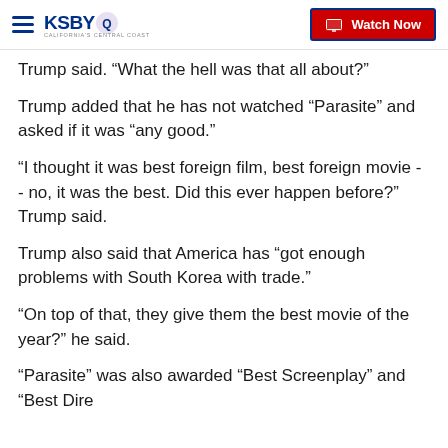KSBY California's Central Coast — Watch Now
Trump said. "What the hell was that all about?"
Trump added that he has not watched "Parasite" and asked if it was "any good."
"I thought it was best foreign film, best foreign movie - - no, it was the best. Did this ever happen before?" Trump said.
Trump also said that America has "got enough problems with South Korea with trade."
"On top of that, they give them the best movie of the year?" he said.
"Parasite" was also awarded "Best Screenplay" and "Best Direction"